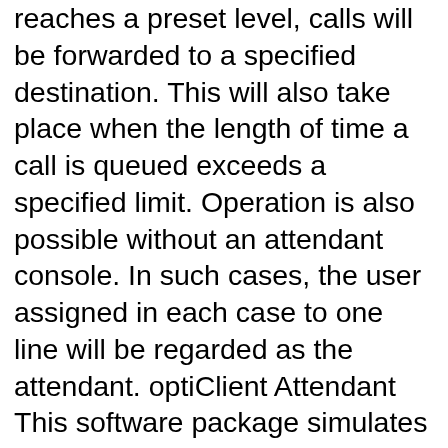reaches a preset level, calls will be forwarded to a specified destination. This will also take place when the length of time a call is queued exceeds a specified limit. Operation is also possible without an attendant console. In such cases, the user assigned in each case to one line will be regarded as the attendant. optiClient Attendant This software package simulates a comfortable attendant console on your PC's screen. All attendant features can be activated and executed via the PC keyboard and mouse. optiPoint BLF The busy lamp panel (BLF) is an additional module principally for optiPoint Attendant. It has ninety LEDs and freely programmable function keys. The individual LEDs are assigned on the telephone or via HiPath 3000 Manager C / E. The status of the users is displayed (free, busy, called). Braille console Optical displays are translated into Braille by an add-on device connected to the PC. This enables visually impaired employees to perform all call-extending tasks. Executive/secretary features These features ensure rapid